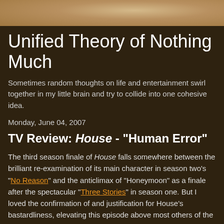[Figure (illustration): Aged parchment/texture banner at the top of the page in tan/gold tones]
Unified Theory of Nothing Much
Sometimes random thoughts on life and entertainment swirl together in my little brain and try to collide into one cohesive idea.
Monday, June 04, 2007
TV Review: House - "Human Error"
The third season finale of House falls somewhere between the brilliant re-examination of its main character in season two's "No Reason" and the anticlimax of "Honeymoon" as a finale after the spectacular "Three Stories" in season one. But I loved the confirmation of and justification for House's bastardliness, elevating this episode above most others of the season for me.